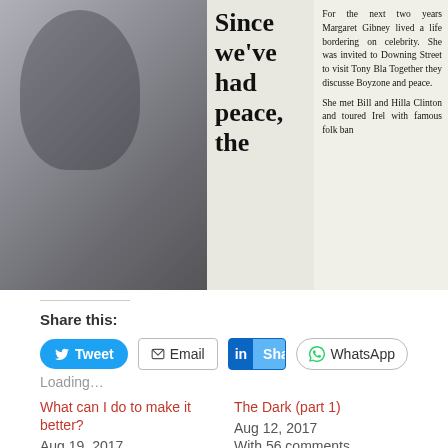[Figure (photo): Photograph of a newspaper page showing a man's face on the left, a large bold headline reading 'Since we've had peace, the' in the center column, and article text on the right column mentioning Margaret Gibney, Downing Street, Tony Blair, Boyzone, Bill and Hillary Clinton.]
Share this:
Tweet  Email  Share  WhatsApp
Loading…
What can I do to make it better?
Aug 19, 2017
With 10 comments
The Dark (part 1)
Aug 12, 2017
With 56 comments